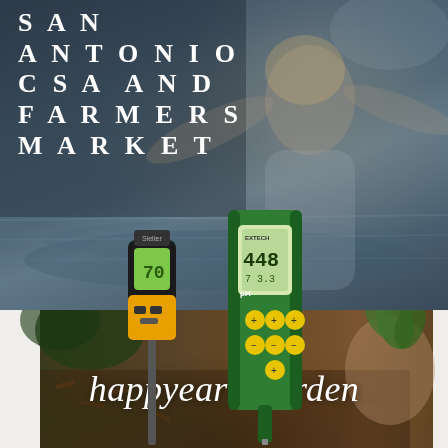[Figure (photo): Top half: dark blue-gray water background with a smiling woman in sunglasses with arms raised. Bottom half: garden soil scene with a yellow/black soil meter and a green Extech pH meter, hand holding plant seedling, mulch/soil foreground.]
SAN ANTONIO CSA AND FARMERS MARKET
happyearthgarden